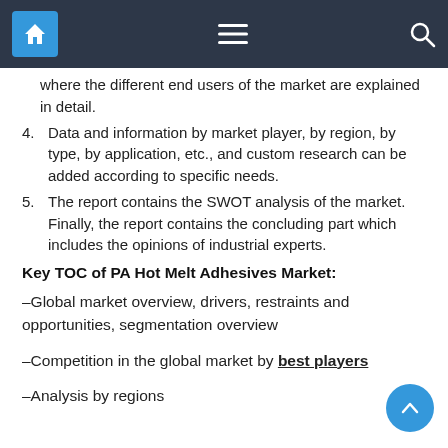Navigation bar with home, menu, and search icons
where the different end users of the market are explained in detail.
4. Data and information by market player, by region, by type, by application, etc., and custom research can be added according to specific needs.
5. The report contains the SWOT analysis of the market. Finally, the report contains the concluding part which includes the opinions of industrial experts.
Key TOC of PA Hot Melt Adhesives Market:
–Global market overview, drivers, restraints and opportunities, segmentation overview
–Competition in the global market by best players
–Analysis by regions